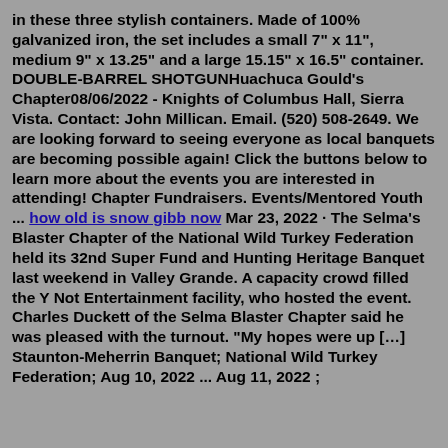in these three stylish containers. Made of 100% galvanized iron, the set includes a small 7" x 11", medium 9" x 13.25" and a large 15.15" x 16.5" container. DOUBLE-BARREL SHOTGUNHuachuca Gould's Chapter08/06/2022 - Knights of Columbus Hall, Sierra Vista. Contact: John Millican. Email. (520) 508-2649. We are looking forward to seeing everyone as local banquets are becoming possible again! Click the buttons below to learn more about the events you are interested in attending! Chapter Fundraisers. Events/Mentored Youth ... how old is snow gibb now Mar 23, 2022 · The Selma's Blaster Chapter of the National Wild Turkey Federation held its 32nd Super Fund and Hunting Heritage Banquet last weekend in Valley Grande. A capacity crowd filled the Y Not Entertainment facility, who hosted the event. Charles Duckett of the Selma Blaster Chapter said he was pleased with the turnout. "My hopes were up […] Staunton-Meherrin Banquet; National Wild Turkey Federation; Aug 10, 2022 ... Aug 11, 2022 ;